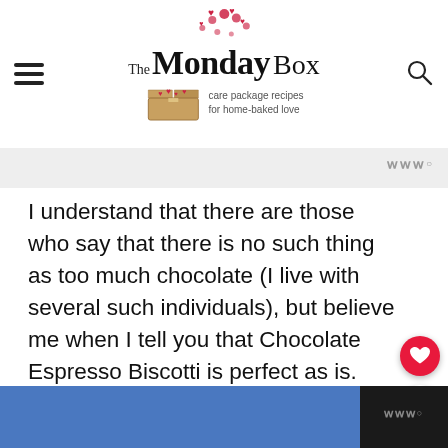[Figure (logo): The Monday Box logo with hearts, box illustration, and tagline 'care package recipes for home-baked love']
I understand that there are those who say that there is no such thing as too much chocolate (I live with several such individuals), but believe me when I tell you that Chocolate Espresso Biscotti is perfect as is.
[Figure (photo): Rows of chocolate espresso biscotti laid out on a white surface]
WHAT'S NEXT → Espresso Chocolate...